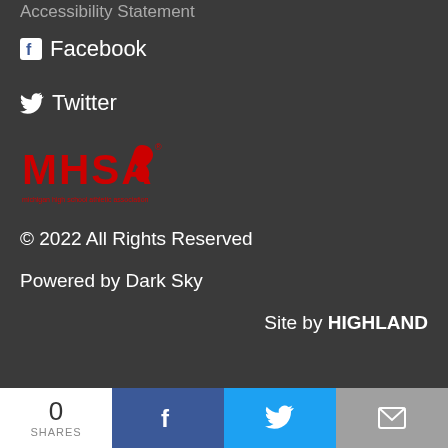Accessibility Statement
Facebook
Twitter
[Figure (logo): MHSA logo - Michigan High School Athletic Association logo in red and white]
© 2022 All Rights Reserved
Powered by Dark Sky
Site by HIGHLAND
0 SHARES | Facebook share | Twitter share | Email share